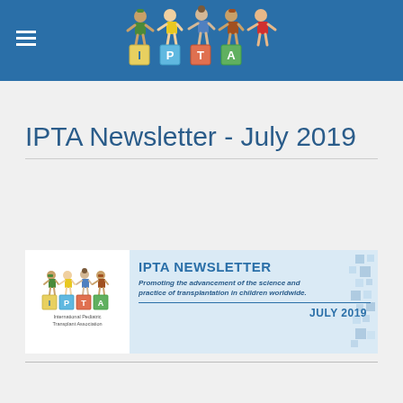[Figure (logo): IPTA top blue header bar with children cartoon figures holding hands standing on alphabet blocks spelling IPTA, hamburger menu icon on left]
IPTA Newsletter - July 2019
[Figure (logo): IPTA Newsletter banner with logo showing cartoon children on alphabet blocks, International Pediatric Transplant Association text, and tagline 'Promoting the advancement of the science and practice of transplantation in children worldwide.' with JULY 2019 date and decorative blue square pattern]